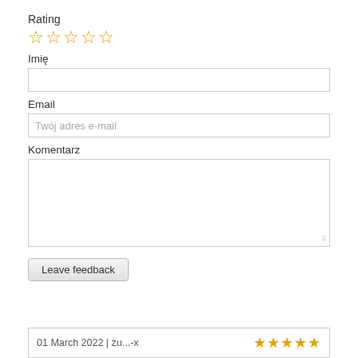Rating
[Figure (other): Five empty star rating icons in orange outline]
Imię
[Figure (other): Empty text input field for name]
Email
[Figure (other): Text input field with placeholder 'Twój adres e-mail']
Komentarz
[Figure (other): Large textarea for comment input]
[Figure (other): Submit button labeled 'Leave feedback']
01 March 2022 | zu...-x
[Figure (other): Five filled star rating icons in orange]